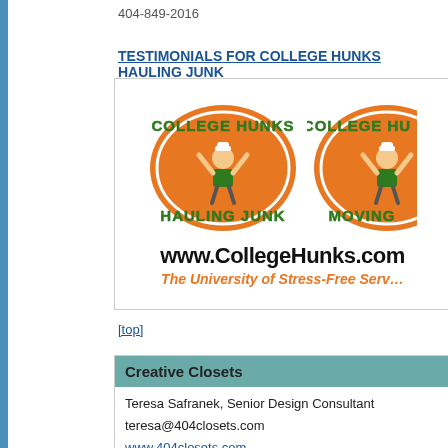404-849-2016
TESTIMONIALS FOR COLLEGE HUNKS HAULING JUNK
[Figure (logo): College Hunks Hauling Junk logo (orange oval with mascot) and partial College Hunks Moving logo, with website www.CollegeHunks.com and tagline The University of Stress-Free Service]
[top]
Creative Closets
Teresa Safranek, Senior Design Consultant
teresa@404closets.com
www.404closets.com
770-318-9613 (cell)
770-421-0211 (office)